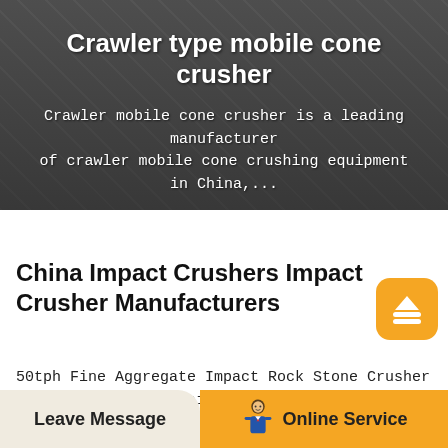[Figure (photo): Hero banner showing industrial equipment/trucks in a yard with dark overlay background]
Crawler type mobile cone crusher
Crawler mobile cone crusher is a leading manufacturer of crawler mobile cone crushing equipment in China,...
China Impact Crushers Impact Crusher Manufacturers
50tph Fine Aggregate Impact Rock Stone Crusher , Find Complete Details about 50tph Fine Aggregate Impact Rock Stone Crusher,Impact Rock Stone Crusher,Gold Mining Equipment,50tph Impact Crusher from Crusher Supplier or Manufacturer-Zhengzhou Unique Industrial Equipment .Why
Leave Message
Online Service